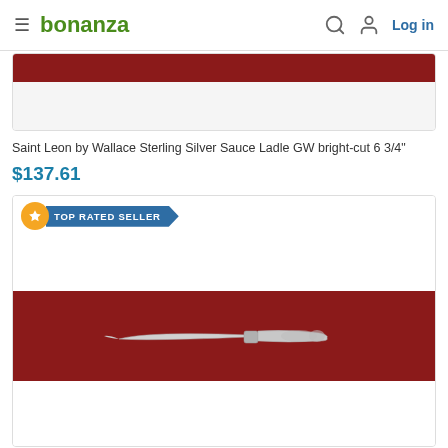bonanza — Log in
[Figure (photo): Partial product listing card showing a cropped product image with dark red/maroon top band and white area below]
Saint Leon by Wallace Sterling Silver Sauce Ladle GW bright-cut 6 3/4"
$137.61
[Figure (photo): Product listing card with TOP RATED SELLER badge, showing a silver butter knife / spreader on a dark red background]
TOP RATED SELLER